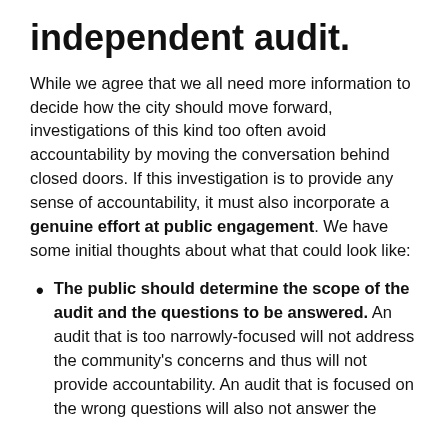independent audit.
While we agree that we all need more information to decide how the city should move forward, investigations of this kind too often avoid accountability by moving the conversation behind closed doors. If this investigation is to provide any sense of accountability, it must also incorporate a genuine effort at public engagement. We have some initial thoughts about what that could look like:
The public should determine the scope of the audit and the questions to be answered. An audit that is too narrowly-focused will not address the community's concerns and thus will not provide accountability. An audit that is focused on the wrong questions will also not answer the